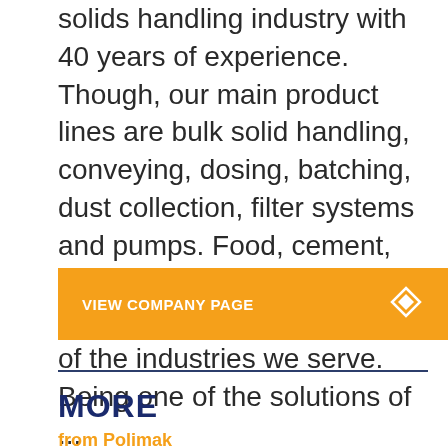solids handling industry with 40 years of experience. Though, our main product lines are bulk solid handling, conveying, dosing, batching, dust collection, filter systems and pumps. Food, cement, iron, steel, agriculture, chemicals, plastics are some of the industries we serve. Being one of the solutions of ...
VIEW COMPANY PAGE
MORE
from Polimak